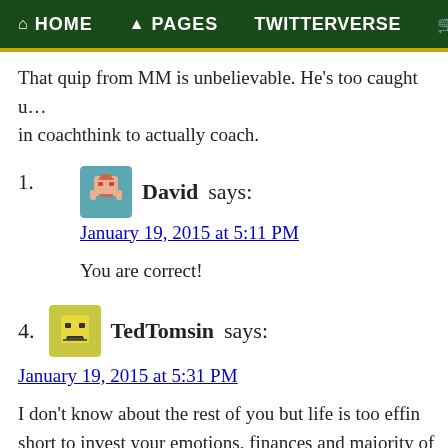HOME   PAGES   TWITTERVERSE   ST
That quip from MM is unbelievable. He's too caught up in coachthink to actually coach.
1. David says: January 19, 2015 at 5:11 PM — You are correct!
4. TedTomsin says: January 19, 2015 at 5:31 PM — I don't know about the rest of you but life is too effin short to invest your emotions, finances and majority of your social time with this team. In the end it's just a game. It doesn't mean jack shit in the big picture. I am seriously debating about whether to give up my fanship to this team for life. It's like you just got married to the love of your life and you find